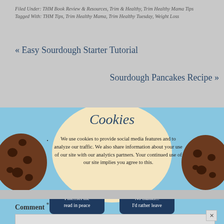Filed Under: THM Book Review & Resources, Trim & Healthy, Trim Healthy Mama Tips
Tagged With: THM Tips, Trim Healthy Mama, Trim Healthy Tuesday, Weight Loss
« Easy Sourdough Starter Tutorial
Sourdough Pancakes Recipe »
[Figure (infographic): Cookie consent banner with light blue background, a cream/yellow circle behind the title, two chocolate chip cookie images on left and right sides. Title 'Cookies' in cursive blue font. Text reads: 'We use cookies to provide social media features and to analyze our traffic. We also share information about your use of our site with our analytics partners. Your continued use of our site implies you agree to this.' Two dark navy buttons: 'Fine...let me read in peace' and 'No thanks... I'd rather leave']
marked *
Comment *